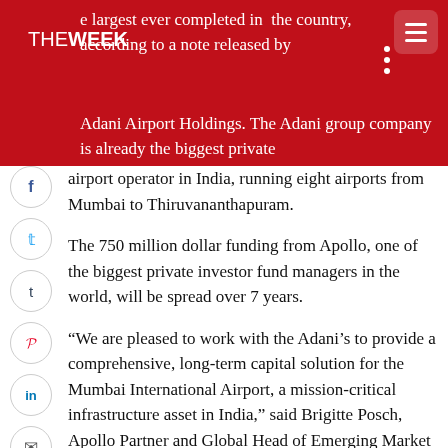THE WEEK
e largest ever completed in the country, according to a note released by Adani Airport Holdings. The Adani group company is already the biggest private airport operator in India, running eight airports from Mumbai to Thiruvananthapuram.
The 750 million dollar funding from Apollo, one of the biggest private investor fund managers in the world, will be spread over 7 years.
“We are pleased to work with the Adani’s to provide a comprehensive, long-term capital solution for the Mumbai International Airport, a mission-critical infrastructure asset in India,” said Brigitte Posch, Apollo Partner and Global Head of Emerging Market Debt